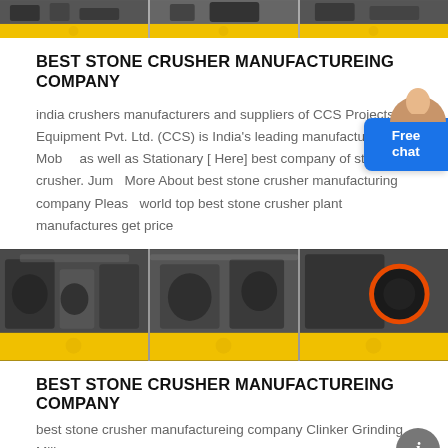[Figure (photo): Top strip of three industrial stone crusher machinery photos with yellow bottom bars]
BEST STONE CRUSHER MANUFACTUREING COMPANY
india crushers manufacturers and suppliers of CCS Projects Equipment Pvt. Ltd. (CCS) is India's leading manufacturer of Mobile as well as Stationary [ Here] best company of stone crusher. Jump More About best stone crusher manufacturing company Please world top best stone crusher plant manufactures get price
[Figure (photo): Three photos of stone crusher machinery in industrial setting with yellow bottom bars]
BEST STONE CRUSHER MANUFACTUREING COMPANY
best stone crusher manufactureing company Clinker Grinding Mill